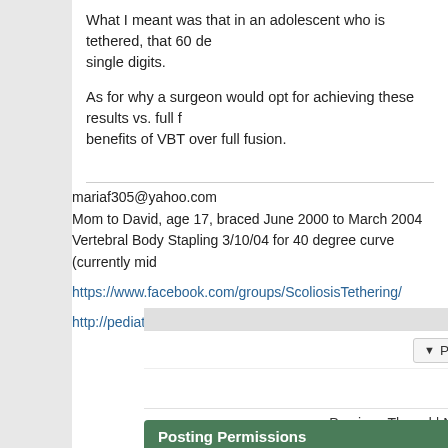What I meant was that in an adolescent who is tethered, that 60 de... single digits.
As for why a surgeon would opt for achieving these results vs. full f... benefits of VBT over full fusion.
mariaf305@yahoo.com
Mom to David, age 17, braced June 2000 to March 2004
Vertebral Body Stapling 3/10/04 for 40 degree curve (currently mid...
https://www.facebook.com/groups/ScoliosisTethering/
http://pediatricspinefoundation.org/
Page 2 of 3
Qu...
« Previous Thread | Next Thread...
Posting Permissions